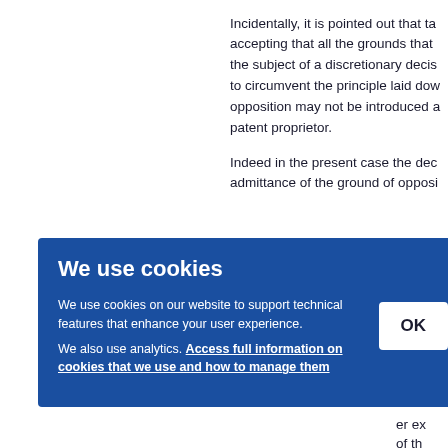Incidentally, it is pointed out that taking into account, i.e. accepting that all the grounds that were not admitted could be the subject of a discretionary decision by the Opposition Division, to circumvent the principle laid down in G 9/91 that a ground of opposition may not be introduced at appeal by the will of the patent proprietor.
Indeed in the present case the decision refused the admittance of the ground of opposition ...
... or the ... subject ... of op ... ne co ... of op ... into th ... er ex ... of th ...
[Figure (screenshot): Cookie consent overlay with blue background. Title: 'We use cookies'. Body text: 'We use cookies on our website to support technical features that enhance your user experience. We also use analytics. Access full information on cookies that we use and how to manage them'. OK button on the right.]